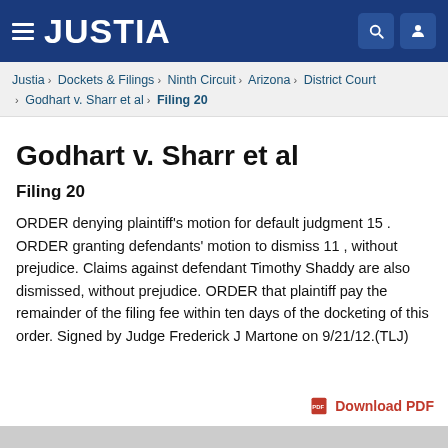JUSTIA
Justia › Dockets & Filings › Ninth Circuit › Arizona › District Court › Godhart v. Sharr et al › Filing 20
Godhart v. Sharr et al
Filing 20
ORDER denying plaintiff's motion for default judgment 15 . ORDER granting defendants' motion to dismiss 11 , without prejudice. Claims against defendant Timothy Shaddy are also dismissed, without prejudice. ORDER that plaintiff pay the remainder of the filing fee within ten days of the docketing of this order. Signed by Judge Frederick J Martone on 9/21/12.(TLJ)
Download PDF